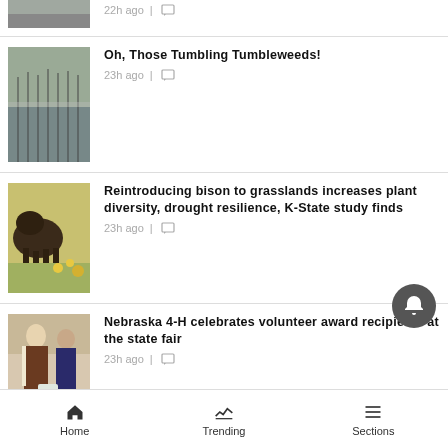22h ago
Oh, Those Tumbling Tumbleweeds! 23h ago
Reintroducing bison to grasslands increases plant diversity, drought resilience, K-State study finds 23h ago
Nebraska 4-H celebrates volunteer award recipients at the state fair 23h ago
SEE MORE →
Home  Trending  Sections